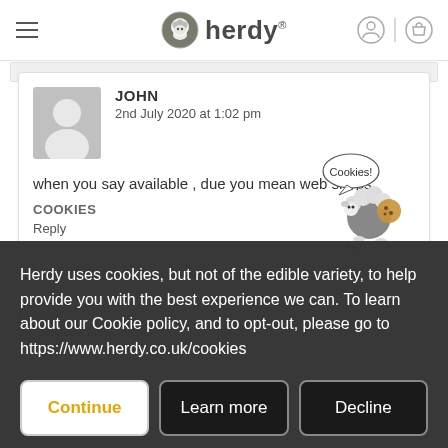herdy®
JOHN
2nd July 2020 at 1:02 pm
when you say available , due you mean web shops
COOKIES
Reply
Herdy uses cookies, but not of the edible variety, to help provide you with the best experience we can. To learn about our Cookie policy, and to opt-out, please go to https://www.herdy.co.uk/cookies
Continue  Learn more  Decline